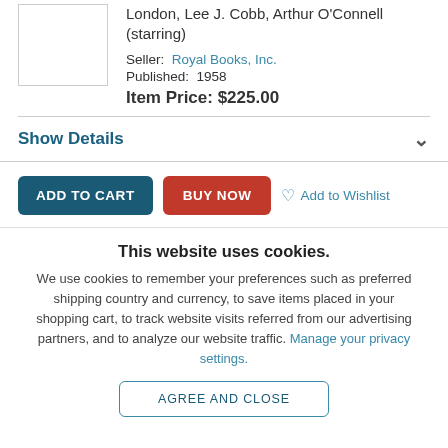[Figure (photo): Small book/item image thumbnail in top-left corner]
London, Lee J. Cobb, Arthur O'Connell (starring)
Seller: Royal Books, Inc.
Published: 1958
Item Price: $225.00
Show Details
ADD TO CART
BUY NOW
Add to Wishlist
This website uses cookies.
We use cookies to remember your preferences such as preferred shipping country and currency, to save items placed in your shopping cart, to track website visits referred from our advertising partners, and to analyze our website traffic. Manage your privacy settings.
AGREE AND CLOSE